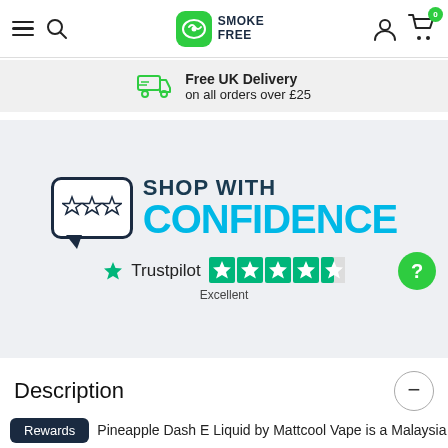Smoke Free — Navigation header with hamburger menu, search, logo, account and cart (0 items)
Free UK Delivery on all orders over £25
[Figure (infographic): Shop With Confidence banner with Trustpilot Excellent rating (4.5 stars)]
Description
Pineapple Dash E Liquid by Mattcool Vape is a Malaysia